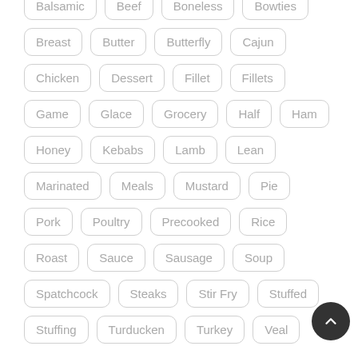Balsamic
Beef
Boneless
Bowties
Breast
Butter
Butterfly
Cajun
Chicken
Dessert
Fillet
Fillets
Game
Glace
Grocery
Half
Ham
Honey
Kebabs
Lamb
Lean
Marinated
Meals
Mustard
Pie
Pork
Poultry
Precooked
Rice
Roast
Sauce
Sausage
Soup
Spatchcock
Steaks
Stir Fry
Stuffed
Stuffing
Turducken
Turkey
Veal